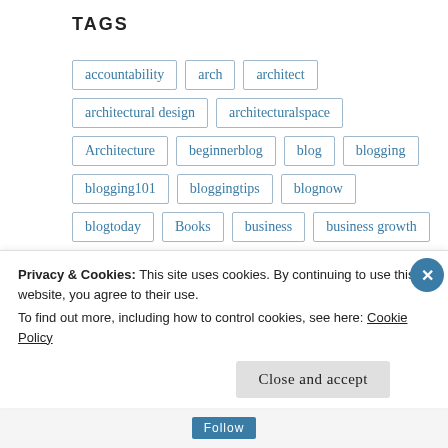TAGS
accountability
arch
architect
architectural design
architecturalspace
Architecture
beginnerblog
blog
blogging
blogging101
bloggingtips
blognow
blogtoday
Books
business
business growth
childhood
creativeentrepreneurship
Privacy & Cookies: This site uses cookies. By continuing to use this website, you agree to their use.
To find out more, including how to control cookies, see here: Cookie Policy
Close and accept